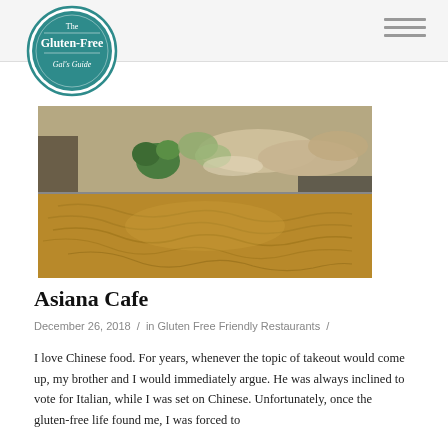The Gluten-Free Gal's Guide
[Figure (logo): Circular logo for 'The Gluten-Free Gal's Guide' with teal background and white text]
[Figure (photo): Two food photos combined: top shows steamed chicken with broccoli and vegetables in a light sauce; bottom shows a golden broth soup with noodles]
Asiana Cafe
December 26, 2018  /  in Gluten Free Friendly Restaurants  /
I love Chinese food. For years, whenever the topic of takeout would come up, my brother and I would immediately argue. He was always inclined to vote for Italian, while I was set on Chinese. Unfortunately, once the gluten-free life found me, I was forced to